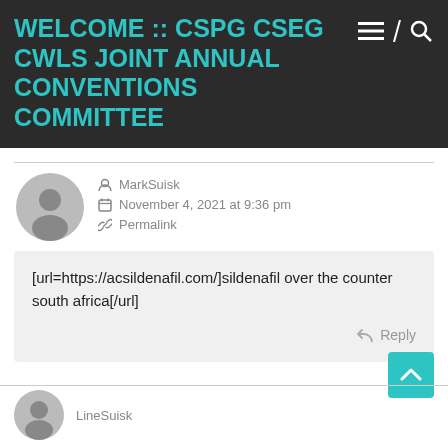WELCOME :: CSPG CSEG CWLS JOINT ANNUAL CONVENTIONS COMMITTEE
MarkSuisk
November 4, 2021 at 9:36 pm
Permalink
[url=https://acsildenafil.com/]sildenafil over the counter south africa[/url]
Reply
LineSuisk